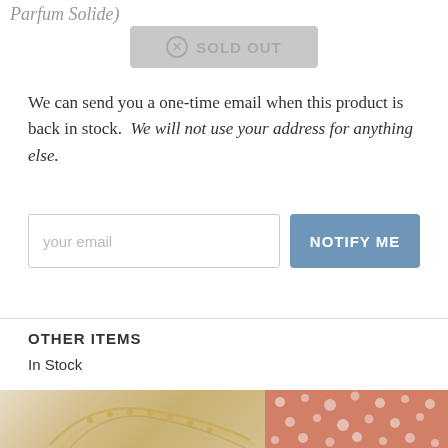Parfum Solide)
[Figure (screenshot): Gray 'SOLD OUT' button with circle-X icon]
We can send you a one-time email when this product is back in stock. We will not use your address for anything else.
[Figure (screenshot): Email input field with placeholder 'your email' and a blue 'NOTIFY ME' button]
OTHER ITEMS
In Stock
[Figure (photo): Two product thumbnails: gold necklace jewelry on left, patterned scarf/fabric on right]